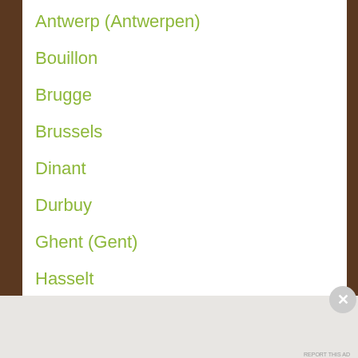Antwerp (Antwerpen)
Bouillon
Brugge
Brussels
Dinant
Durbuy
Ghent (Gent)
Hasselt
La Hulpe
Leuven
Advertisements
[Figure (screenshot): DuckDuckGo advertisement banner: Search, browse, and email with more privacy. All in One Free App]